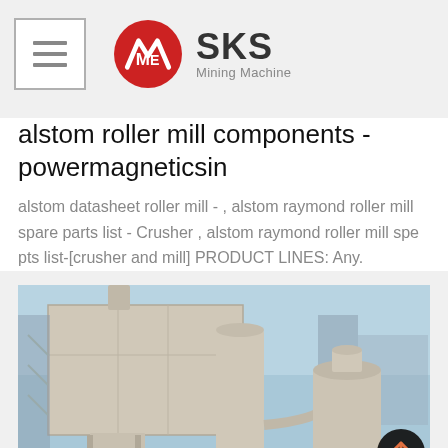SKS Mining Machine
alstom roller mill components - powermagneticsin
alstom datasheet roller mill - , alstom raymond roller mill spare parts list - Crusher , alstom raymond roller mill spe pts list-[crusher and mill] PRODUCT LINES: Any.
[Figure (photo): Industrial mill equipment with large cylindrical dust collectors and hoppers at a mining or processing facility, photographed outdoors against a blue sky.]